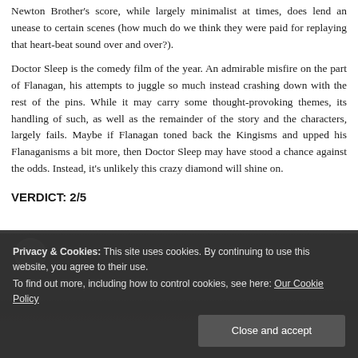Newton Brother's score, while largely minimalist at times, does lend an unease to certain scenes (how much do we think they were paid for replaying that heart-beat sound over and over?).
Doctor Sleep is the comedy film of the year. An admirable misfire on the part of Flanagan, his attempts to juggle so much instead crashing down with the rest of the pins. While it may carry some thought-provoking themes, its handling of such, as well as the remainder of the story and the characters, largely fails. Maybe if Flanagan toned back the Kingisms and upped his Flanaganisms a bit more, then Doctor Sleep may have stood a chance against the odds. Instead, it's unlikely this crazy diamond will shine on.
VERDICT: 2/5
[Figure (photo): Dark screenshot/still from a film with a circular avatar icon in the top left corner]
Privacy & Cookies: This site uses cookies. By continuing to use this website, you agree to their use.
To find out more, including how to control cookies, see here: Our Cookie Policy